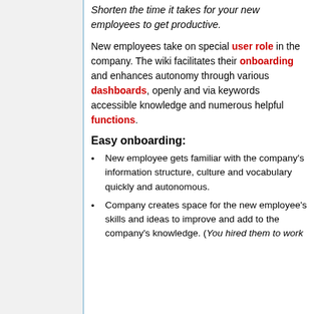Shorten the time it takes for your new employees to get productive.
New employees take on special user role in the company. The wiki facilitates their onboarding and enhances autonomy through various dashboards, openly and via keywords accessible knowledge and numerous helpful functions.
Easy onboarding:
New employee gets familiar with the company's information structure, culture and vocabulary quickly and autonomous.
Company creates space for the new employee's skills and ideas to improve and add to the company's knowledge. (You hired them to work